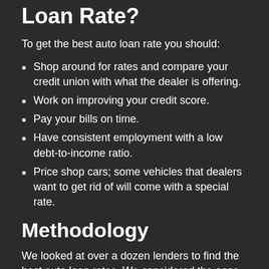Loan Rate?
To get the best auto loan rate you should:
Shop around for rates and compare your credit union with what the dealer is offering.
Work on improving your credit score.
Pay your bills on time.
Have consistent employment with a low debt-to-income ratio.
Price shop cars; some vehicles that dealers want to get rid of will come with a special rate.
Methodology
We looked at over a dozen lenders to find the best auto loan rates. We considered the ease of application, impact on credit scores, terms, credit requirements, and more. Our